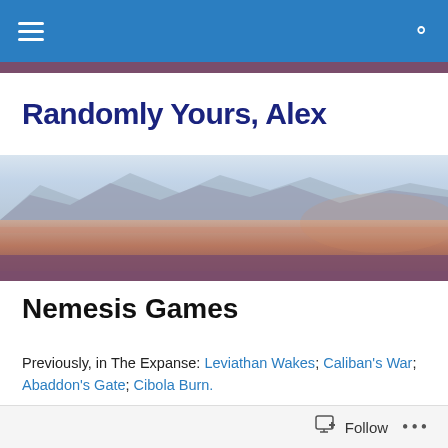Randomly Yours, Alex — navigation bar with menu and search icons
Randomly Yours, Alex
[Figure (photo): Wide panoramic hero image of a city skyline with mountains in the background, warm pinkish-purple tones with a mauve accent bar below]
Nemesis Games
Previously, in The Expanse: Leviathan Wakes; Caliban's War; Abaddon's Gate; Cibola Burn.
[Figure (photo): Book cover for Nemesis Games showing 'The New York Times Bestselling Series' text on a dark background with foliage and sci-fi elements]
Follow   •••